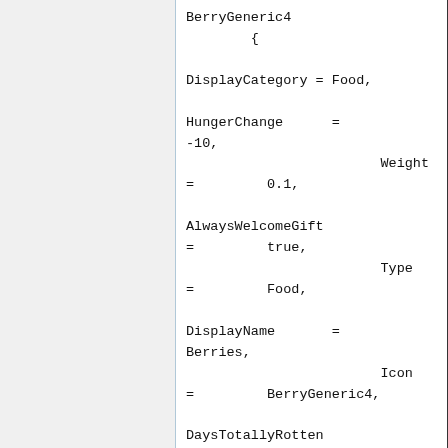BerryGeneric4
        {

DisplayCategory = Food,

HungerChange      =
-10,
                        Weight
=         0.1,

AlwaysWelcomeGift
=         true,
                        Type
=         Food,

DisplayName       =
Berries,
                        Icon
=         BerryGeneric4,

DaysTotallyRotten
=         10,

DaysFresh         =
6